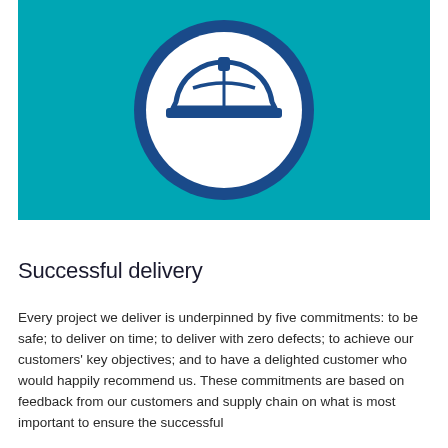[Figure (illustration): Teal/turquoise square background with a white circle containing a dark blue construction/safety hard hat icon outlined in dark blue]
Successful delivery
Every project we deliver is underpinned by five commitments: to be safe; to deliver on time; to deliver with zero defects; to achieve our customers' key objectives; and to have a delighted customer who would happily recommend us. These commitments are based on feedback from our customers and supply chain on what is most important to ensure the successful